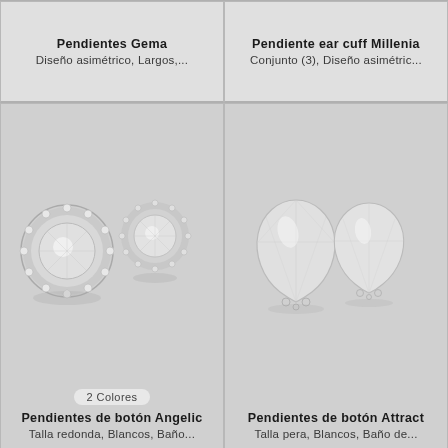Pendientes Gema
Diseño asimétrico, Largos,...
Pendiente ear cuff Millenia
Conjunto (3), Diseño asimétric...
[Figure (photo): Two round halo diamond stud earrings with pavé border on grey background]
[Figure (photo): Two pear-shaped diamond stud earrings on grey background]
2 Colores
Pendientes de botón Angelic
Talla redonda, Blancos, Baño...
Pendientes de botón Attract
Talla pera, Blancos, Baño de...